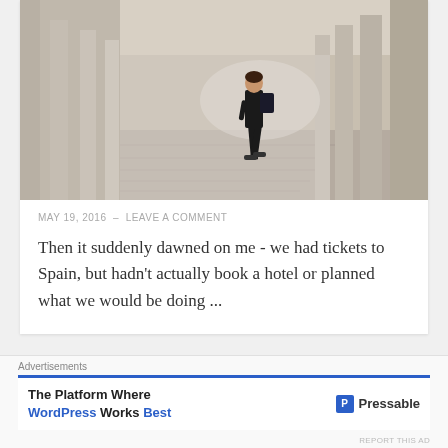[Figure (photo): Person walking through a stone colonnade corridor with tall pillars, carrying a backpack, taken in a European architectural setting]
MAY 19, 2016 – LEAVE A COMMENT
Then it suddenly dawned on me - we had tickets to Spain, but hadn't actually book a hotel or planned what we would be doing ...
Advertisements
The Platform Where WordPress Works Best — Pressable